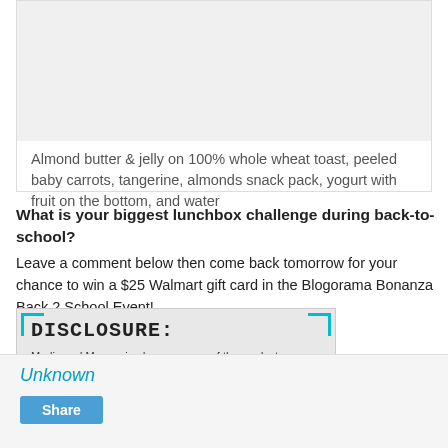[Figure (photo): Food image placeholder (grey area)]
Almond butter & jelly on 100% whole wheat toast, peeled baby carrots, tangerine, almonds snack pack, yogurt with fruit on the bottom, and water
What is your biggest lunchbox challenge during back-to-school?
Leave a comment below then come back tomorrow for your chance to win a $25 Walmart gift card in the Blogorama Bonanza Back 2 School Event!
[Figure (other): Disclosure box: DISCLOSURE: Marlie and Me received one or more of the products or services mentioned for the purpose of review and/or giveaway. All opinions expressed are my own. I am disclosing this in accordance with the Federal Trade Commission's 16 CFR, Part 255: "Guides Concerning the Use of Endorsements and Testimonials in Advertising."]
Unknown
Share